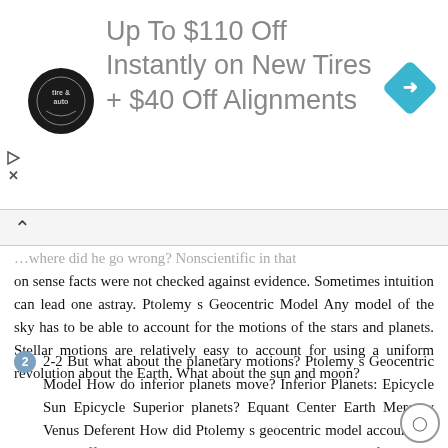[Figure (other): Advertisement banner: tire and auto logo on left, text 'Up To $110 Off Instantly on New Tires + $40 Off Alignments', blue diamond arrow icon on right]
…where did he go wrong? Nonscientific in that on sense facts were not checked against evidence. Sometimes intuition can lead one astray. Ptolemy s Geocentric Model Any model of the sky has to be able to account for the motions of the stars and planets. Stellar motions are relatively easy to account for using a uniform revolution about the Earth. What about the sun and moon?
2-2 But what about the planetary motions? Ptolemy s Geocentric Model How do inferior planets move? Inferior Planets: Epicycle Sun Epicycle Superior planets? Equant Center Earth Mercury Venus Deferent How did Ptolemy s geocentric model account for these effects? Ptolemy s Geocentric Model Ptolemy found the data could be fit better if the deferent was slightly offset from the Earth Superior Planet: Epicycle Motion around the deferent is uniform as seen from a point on the exact opposite side of the center of the deferent, the Equant. Equant Earth